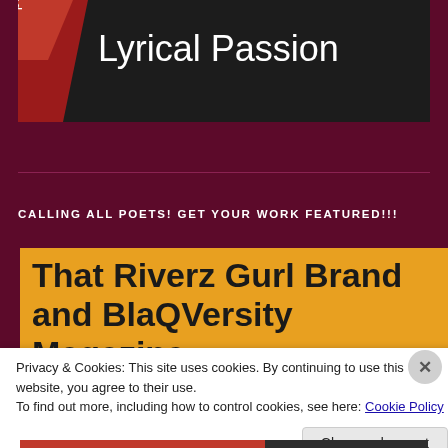[Figure (screenshot): Book cover or website header image for 'Lyrical Passion' with dark textured background and red accent, white text reading 'Lyrical Passion', and rotated text 'passion' on the left side.]
CALLING ALL POETS! GET YOUR WORK FEATURED!!!
That Riverz Gurl Brand and BlaQVersity Magazine
Privacy & Cookies: This site uses cookies. By continuing to use this website, you agree to their use.
To find out more, including how to control cookies, see here: Cookie Policy
Close and accept